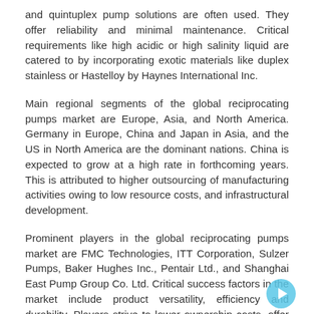and quintuplex pump solutions are often used. They offer reliability and minimal maintenance. Critical requirements like high acidic or high salinity liquid are catered to by incorporating exotic materials like duplex stainless or Hastelloy by Haynes International Inc.
Main regional segments of the global reciprocating pumps market are Europe, Asia, and North America. Germany in Europe, China and Japan in Asia, and the US in North America are the dominant nations. China is expected to grow at a high rate in forthcoming years. This is attributed to higher outsourcing of manufacturing activities owing to low resource costs, and infrastructural development.
Prominent players in the global reciprocating pumps market are FMC Technologies, ITT Corporation, Sulzer Pumps, Baker Hughes Inc., Pentair Ltd., and Shanghai East Pump Group Co. Ltd. Critical success factors in the market include product versatility, efficiency and durability. Players strive to lower ownership costs, offer easy maintenance, and a long service life.
Request A Sample Copy Of This Report at: www.radiantinsights.com/research/global-reciprocating-pumps-